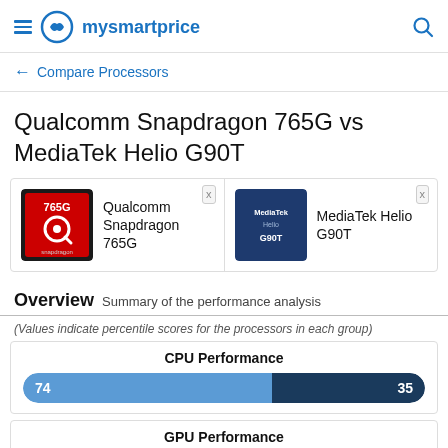mysmartprice
← Compare Processors
Qualcomm Snapdragon 765G vs MediaTek Helio G90T
[Figure (infographic): Comparison chips: Qualcomm Snapdragon 765G logo and MediaTek Helio G90T logo side by side]
Overview Summary of the performance analysis
(Values indicate percentile scores for the processors in each group)
[Figure (bar-chart): CPU Performance]
[Figure (bar-chart): GPU Performance]